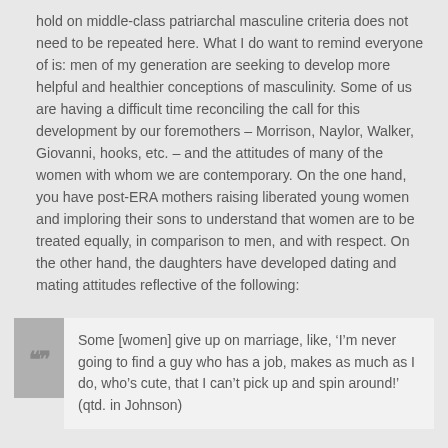hold on middle-class patriarchal masculine criteria does not need to be repeated here. What I do want to remind everyone of is: men of my generation are seeking to develop more helpful and healthier conceptions of masculinity. Some of us are having a difficult time reconciling the call for this development by our foremothers – Morrison, Naylor, Walker, Giovanni, hooks, etc. – and the attitudes of many of the women with whom we are contemporary. On the one hand, you have post-ERA mothers raising liberated young women and imploring their sons to understand that women are to be treated equally, in comparison to men, and with respect. On the other hand, the daughters have developed dating and mating attitudes reflective of the following:
Some [women] give up on marriage, like, 'I'm never going to find a guy who has a job, makes as much as I do, who's cute, that I can't pick up and spin around!' (qtd. in Johnson)